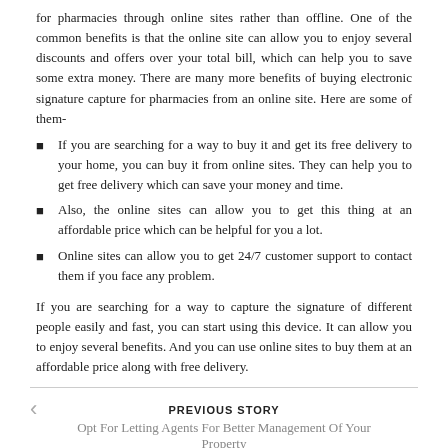for pharmacies through online sites rather than offline. One of the common benefits is that the online site can allow you to enjoy several discounts and offers over your total bill, which can help you to save some extra money. There are many more benefits of buying electronic signature capture for pharmacies from an online site. Here are some of them-
If you are searching for a way to buy it and get its free delivery to your home, you can buy it from online sites. They can help you to get free delivery which can save your money and time.
Also, the online sites can allow you to get this thing at an affordable price which can be helpful for you a lot.
Online sites can allow you to get 24/7 customer support to contact them if you face any problem.
If you are searching for a way to capture the signature of different people easily and fast, you can start using this device. It can allow you to enjoy several benefits. And you can use online sites to buy them at an affordable price along with free delivery.
PREVIOUS STORY
Opt For Letting Agents For Better Management Of Your Property
NEXT STORY